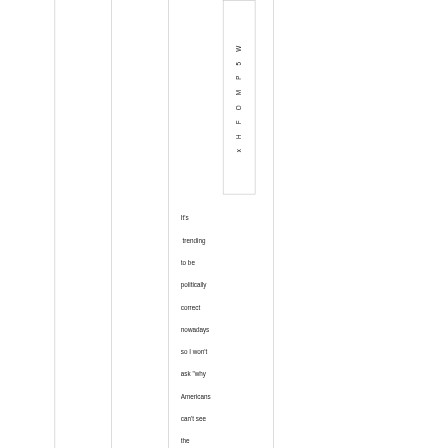| x |
| H |
| F |
| O |
| M |
| P |
| 5 |
| W |
It's trending to be politically correct nowadays so I won't ask "why Americans can't see the difference